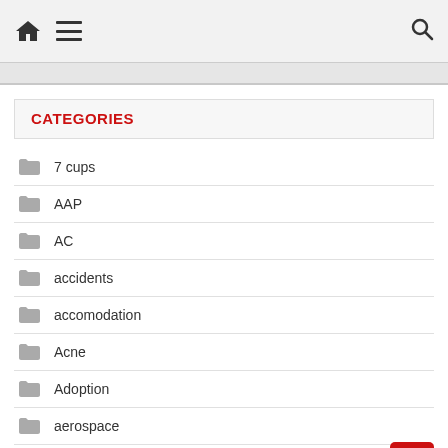Navigation header with home, menu, and search icons
CATEGORIES
7 cups
AAP
AC
accidents
accomodation
Acne
Adoption
aerospace
Africans